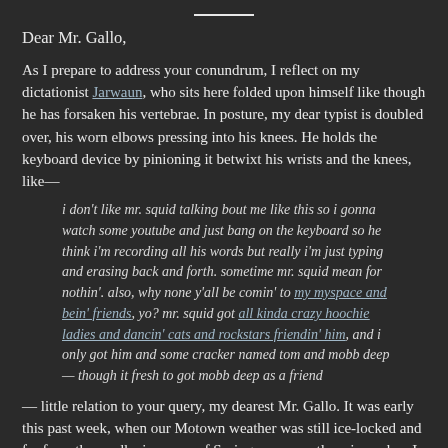Dear Mr. Gallo,
As I prepare to address your conundrum, I reflect on my dictationist Jarwaun, who sits here folded upon himself like though he has forsaken his vertebrae. In posture, my dear typist is doubled over, his worn elbows pressing into his knees. He holds the keyboard device by pinioning it betwixt his wrists and the knees, like—
i don't like mr. squid talking bout me like this so i gonna watch some youtube and just bang on the keyboard so he think i'm recording all his words but really i'm just typing and erasing back and forth. sometime mr. squid mean for nothin'. also, why none y'all be comin' to my myspace and bein' friends, yo? mr. squid got all kinda crazy hoochie ladies and dancin' cats and rockstars friendin' him, and i only got him and some cracker named tom and mobb deep — though it fresh to got mobb deep as a friend
— little relation to your query, my dearest Mr. Gallo. It was early this past week, when our Motown weather was still ice-locked and far from the mudluciousness of Spring we currently enjoy, when I set to begin to plan to prepare to outline the composition of my answer to you — listing for Jarwaun's elucidation the several Chilton manuals I thought might best cast light on the issue.